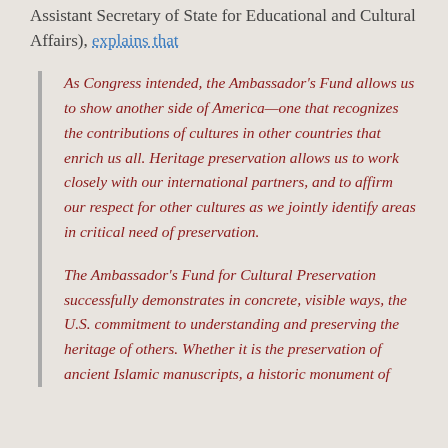Assistant Secretary of State for Educational and Cultural Affairs), explains that
As Congress intended, the Ambassador's Fund allows us to show another side of America—one that recognizes the contributions of cultures in other countries that enrich us all. Heritage preservation allows us to work closely with our international partners, and to affirm our respect for other cultures as we jointly identify areas in critical need of preservation.
The Ambassador's Fund for Cultural Preservation successfully demonstrates in concrete, visible ways, the U.S. commitment to understanding and preserving the heritage of others. Whether it is the preservation of ancient Islamic manuscripts, a historic monument of